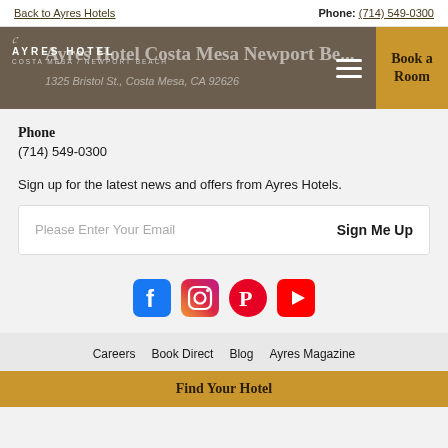Back to Ayres Hotels    Phone: (714) 549-0300
[Figure (logo): Ayres Hotel Costa Mesa Newport Beach logo and header banner with address overlay]
Phone
(714) 549-0300
Sign up for the latest news and offers from Ayres Hotels.
Please Enter Your Email   Sign Me Up
[Figure (illustration): Social media icons row: Facebook, Instagram, Pinterest, YouTube]
Careers   Book Direct   Blog   Ayres Magazine
Find Your Hotel